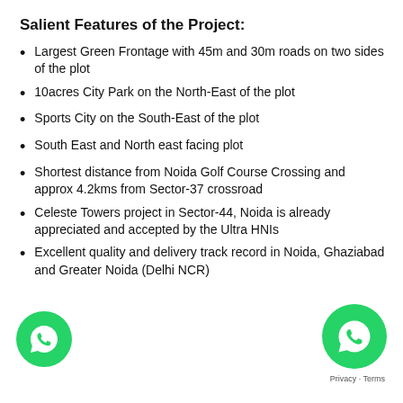Salient Features of the Project:
Largest Green Frontage with 45m and 30m roads on two sides of the plot
10acres City Park on the North-East of the plot
Sports City on the South-East of the plot
South East and North east facing plot
Shortest distance from Noida Golf Course Crossing and approx 4.2kms from Sector-37 crossroad
Celeste Towers project in Sector-44, Noida is already appreciated and accepted by the Ultra HNIs
Excellent quality and delivery track record in Noida, Ghaziabad and Greater Noida (Delhi NCR)